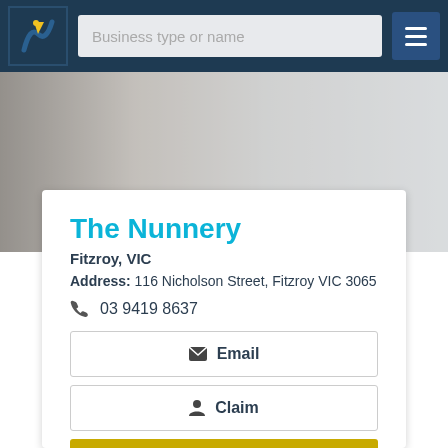Business type or name
The Nunnery
Fitzroy, VIC
Address: 116 Nicholson Street, Fitzroy VIC 3065
03 9419 8637
Email
Claim
Book Now